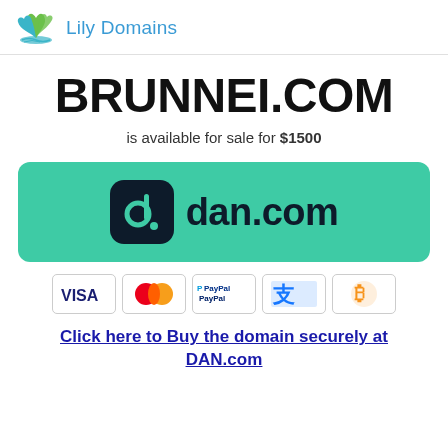[Figure (logo): Lily Domains logo with teal/green leaf icon and brand name in blue]
BRUNNEI.COM
is available for sale for $1500
[Figure (logo): dan.com green button with dark rounded square icon and dan.com text]
[Figure (other): Payment method badges: VISA, Mastercard, PayPal, Alipay, Bitcoin]
Click here to Buy the domain securely at DAN.com